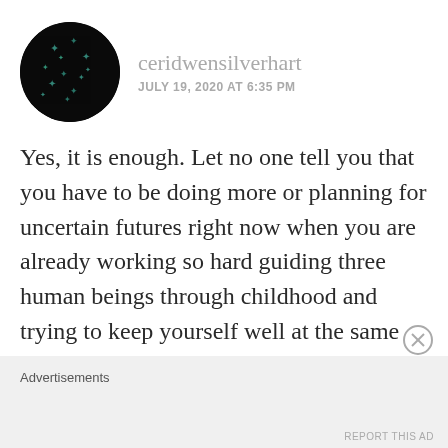[Figure (photo): Circular avatar with dark background showing small teal/green star or snowflake shapes]
ceridwensilverhart
JULY 19, 2020 AT 6:35 PM
Yes, it is enough. Let no one tell you that you have to be doing more or planning for uncertain futures right now when you are already working so hard guiding three human beings through childhood and trying to keep yourself well at the same time.
Advertisements